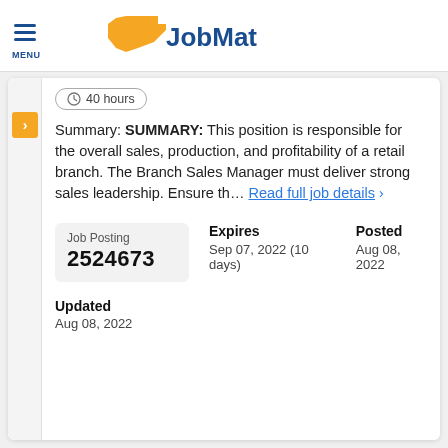[Figure (logo): OK JobMatch logo with Oklahoma state outline graphic in orange, 'OK' in orange bold text, 'JobMatch' in dark blue bold text]
40 hours
Summary: SUMMARY: This position is responsible for the overall sales, production, and profitability of a retail branch. The Branch Sales Manager must deliver strong sales leadership. Ensure th... Read full job details  >
| Job Posting | Expires | Posted |
| --- | --- | --- |
| 2524673 | Sep 07, 2022 (10 days) | Aug 08, 2022 |
Updated
Aug 08, 2022